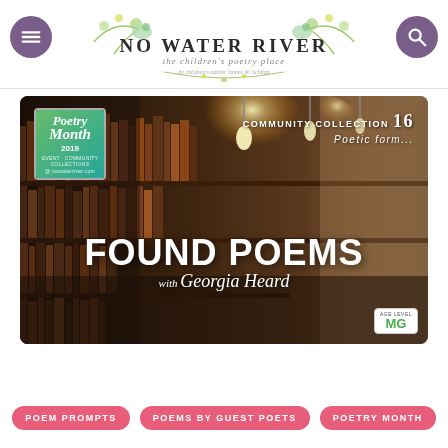[Figure (logo): No Water River logo — the children's poetry place, by children's author James W. Schlipp, with decorative botanical illustration]
[Figure (photo): Library bookshelf with warm hanging Edison bulb lights, overlaid with text: COMMUNITY COLLECTION 16 Poetic form... FOUND POEMS with Georgia Heard. Poetry Month 2019 badge top-left. Age level MG badge bottom-right.]
POEM PROMPTS
POEMS BY GUEST POETS
POETRY MONTH